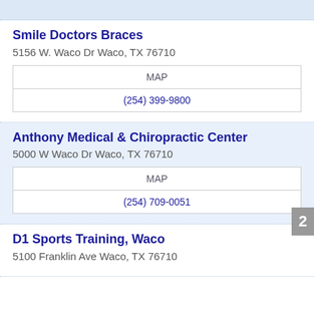Smile Doctors Braces
5156 W. Waco Dr Waco, TX 76710
MAP
(254) 399-9800
Anthony Medical & Chiropractic Center
5000 W Waco Dr Waco, TX 76710
MAP
(254) 709-0051
D1 Sports Training, Waco
5100 Franklin Ave Waco, TX 76710